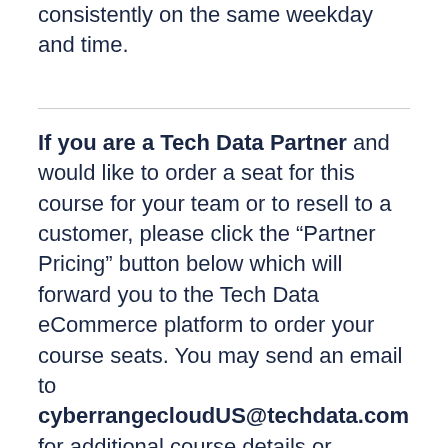consistently on the same weekday and time.
If you are a Tech Data Partner and would like to order a seat for this course for your team or to resell to a customer, please click the “Partner Pricing” button below which will forward you to the Tech Data eCommerce platform to order your course seats. You may send an email to cyberrangecloudUS@techdata.com for additional course details or ordering assistance.